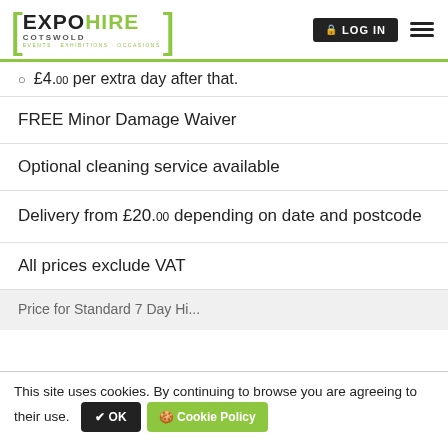EXPO HIRE COTSWOLD — EVENTS · EXHIBITIONS · OCCASIONS | LOG IN
£4.00 per extra day after that.
FREE Minor Damage Waiver
Optional cleaning service available
Delivery from £20.00 depending on date and postcode
All prices exclude VAT
Price for Standard 7 Day Hire
This site uses cookies. By continuing to browse you are agreeing to their use.